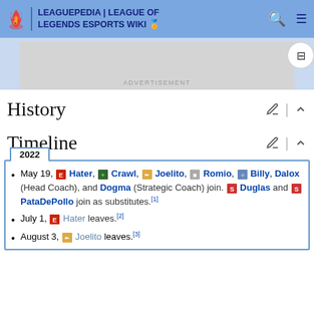LEAGUEPEDIA | LEAGUE OF LEGENDS ESPORTS WIKI
[Figure (screenshot): Advertisement banner placeholder]
History
Timeline
May 19, Hater, Crawl, Joelito, Romio, Billy, Dalox (Head Coach), and Dogma (Strategic Coach) join. Duglas and PataDePollo join as substitutes.[1]
July 1, Hater leaves.[2]
August 3, Joelito leaves.[3]